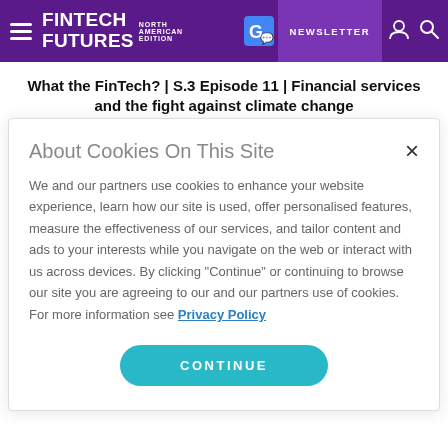FINTECH FUTURES NORTH AMERICAN EDITION | NEWSLETTER
What the FinTech? | S.3 Episode 11 | Financial services and the fight against climate change
2nd August 2022
About Cookies On This Site
We and our partners use cookies to enhance your website experience, learn how our site is used, offer personalised features, measure the effectiveness of our services, and tailor content and ads to your interests while you navigate on the web or interact with us across devices. By clicking "Continue" or continuing to browse our site you are agreeing to our and our partners use of cookies. For more information see Privacy Policy
CONTINUE